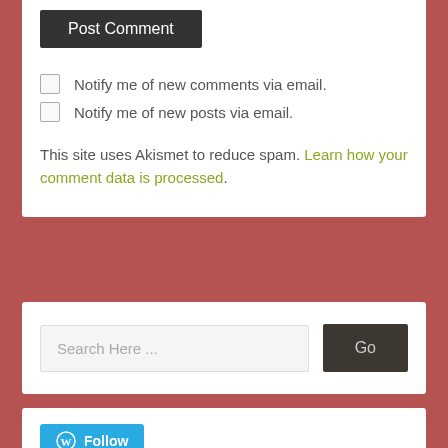Post Comment
Notify me of new comments via email.
Notify me of new posts via email.
This site uses Akismet to reduce spam. Learn how your comment data is processed.
Search Here ...
Go
Follow